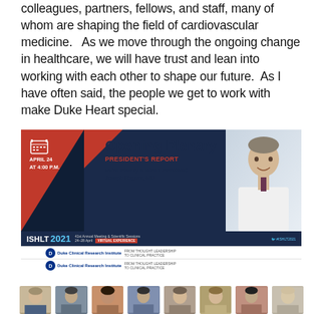colleagues, partners, fellows, and staff, many of whom are shaping the field of cardiovascular medicine.   As we move through the ongoing change in healthcare, we will have trust and lean into working with each other to shape our future.  As I have often said, the people we get to work with make Duke Heart special.
[Figure (infographic): ISHLT 2021 Opening Plenary banner featuring President's Report by Joseph Rogers MD (DCRI Faculty & ISHLT President), with ISHLT 2021 41st Annual Meeting & Scientific Sessions branding (24-28 April, Virtual Experience), and Duke Clinical Research Institute sponsor logos.]
[Figure (photo): Strip of faculty headshot photos at the bottom of the page, showing approximately 8 individuals.]